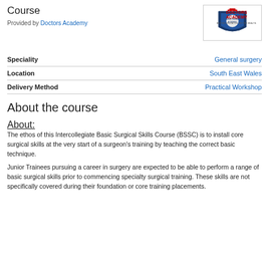Course
Provided by Doctors Academy
[Figure (logo): Doctors Academy logo with shield emblem and text 'Better Education. Better Health.']
| Field | Value |
| --- | --- |
| Speciality | General surgery |
| Location | South East Wales |
| Delivery Method | Practical Workshop |
About the course
About:
The ethos of this Intercollegiate Basic Surgical Skills Course (BSSC) is to install core surgical skills at the very start of a surgeon's training by teaching the correct basic technique.
Junior Trainees pursuing a career in surgery are expected to be able to perform a range of basic surgical skills prior to commencing specialty surgical training. These skills are not specifically covered during their foundation or core training placements.